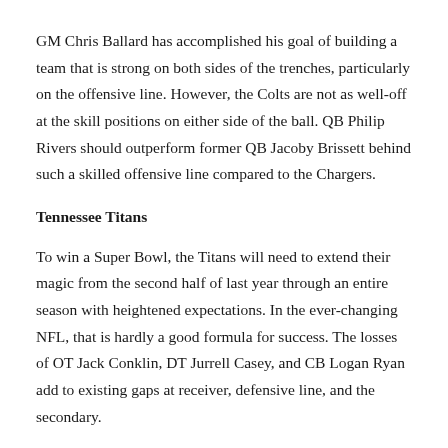GM Chris Ballard has accomplished his goal of building a team that is strong on both sides of the trenches, particularly on the offensive line. However, the Colts are not as well-off at the skill positions on either side of the ball. QB Philip Rivers should outperform former QB Jacoby Brissett behind such a skilled offensive line compared to the Chargers.
Tennessee Titans
To win a Super Bowl, the Titans will need to extend their magic from the second half of last year through an entire season with heightened expectations. In the ever-changing NFL, that is hardly a good formula for success. The losses of OT Jack Conklin, DT Jurrell Casey, and CB Logan Ryan add to existing gaps at receiver, defensive line, and the secondary.